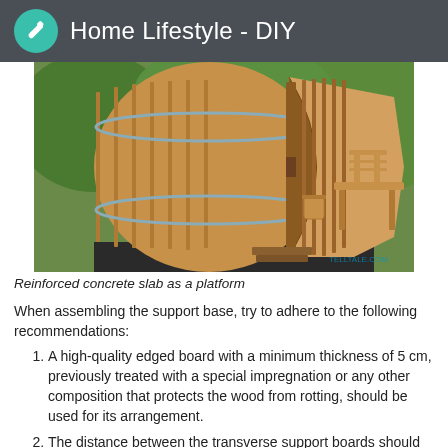Home Lifestyle - DIY
[Figure (photo): A barrel-shaped outdoor wooden sauna with open front revealing interior bench and bucket, surrounded by greenery. Watermark: TELLTALE.COM]
Reinforced concrete slab as a platform
When assembling the support base, try to adhere to the following recommendations:
A high-quality edged board with a minimum thickness of 5 cm, previously treated with a special impregnation or any other composition that protects the wood from rotting, should be used for its arrangement.
The distance between the transverse support boards should be no more than 1.5 meters, and their total number should be selected based on the size of the bath.
In the process of assembly on cross-boards, a rounded recess is